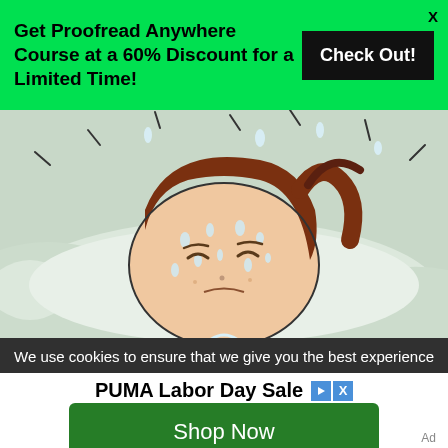Get Proofread Anywhere Course at a 60% Discount for a Limited Time!
Check Out!
X
[Figure (illustration): Comic illustration of a person sweating in bed, lying on a pillow with sweat drops flying around their face and head, brown hair visible, worried expression]
We use cookies to ensure that we give you the best experience
PUMA Labor Day Sale
Shop Now
Ad